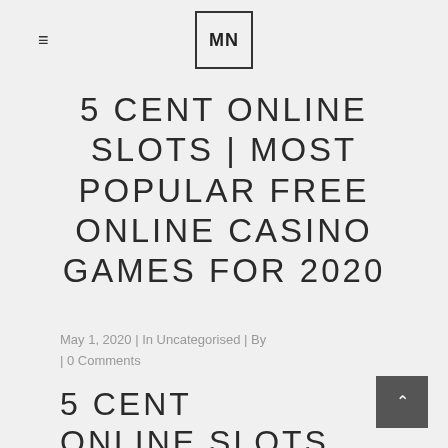≡  MN
5 CENT ONLINE SLOTS | MOST POPULAR FREE ONLINE CASINO GAMES FOR 2020
May 1, 2020 | In Uncategorised | By | 0 Comments
5 CENT ONLINE SLOTS